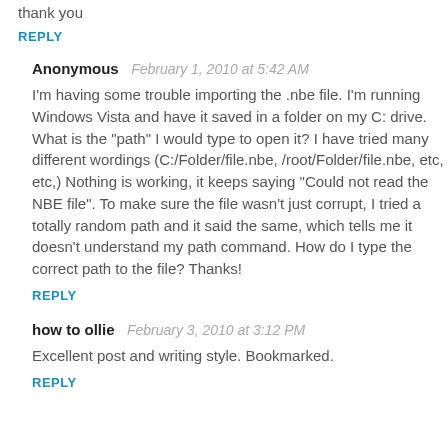thank you
REPLY
Anonymous  February 1, 2010 at 5:42 AM
I'm having some trouble importing the .nbe file. I'm running Windows Vista and have it saved in a folder on my C: drive. What is the "path" I would type to open it? I have tried many different wordings (C:/Folder/file.nbe, /root/Folder/file.nbe, etc, etc,) Nothing is working, it keeps saying "Could not read the NBE file". To make sure the file wasn't just corrupt, I tried a totally random path and it said the same, which tells me it doesn't understand my path command. How do I type the correct path to the file? Thanks!
REPLY
how to ollie  February 3, 2010 at 3:12 PM
Excellent post and writing style. Bookmarked.
REPLY